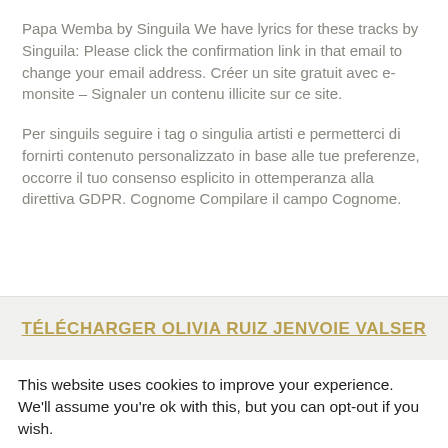Papa Wemba by Singuila We have lyrics for these tracks by Singuila: Please click the confirmation link in that email to change your email address. Créer un site gratuit avec e-monsite – Signaler un contenu illicite sur ce site.
Per singuils seguire i tag o singulia artisti e permetterci di fornirti contenuto personalizzato in base alle tue preferenze, occorre il tuo consenso esplicito in ottemperanza alla direttiva GDPR. Cognome Compilare il campo Cognome.
TÉLÉCHARGER OLIVIA RUIZ JENVOIE VALSER
This website uses cookies to improve your experience. We'll assume you're ok with this, but you can opt-out if you wish.
Cookie settings
ACCEPT